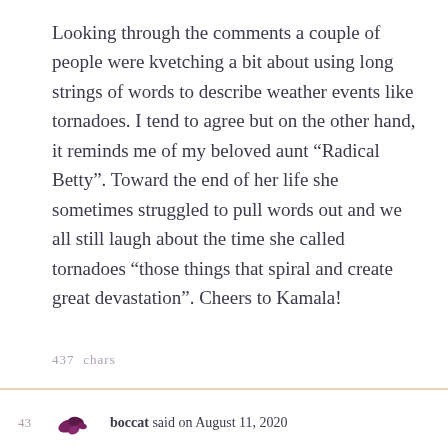Looking through the comments a couple of people were kvetching a bit about using long strings of words to describe weather events like tornadoes. I tend to agree but on the other hand, it reminds me of my beloved aunt “Radical Betty”. Toward the end of her life she sometimes struggled to pull words out and we all still laugh about the time she called tornadoes “those things that spiral and create great devastation”. Cheers to Kamala!
437 chars
43  boccat said on August 11, 2020